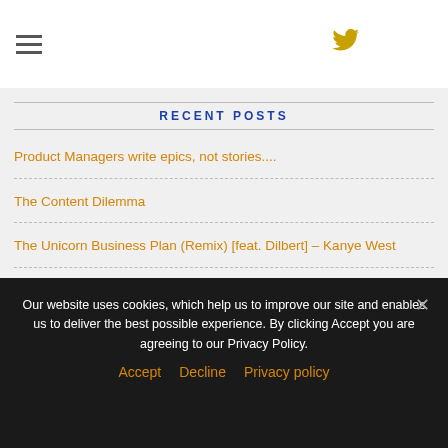RECENT POSTS
Product Managers write epics, not stories....
The Content Dilemma
The Unicorn Business Plan (Remix) [feat. Dilbert] – Kanye West
Win/Loss Questions for Software, Hardware and SaaS offerings
Annual Planning and Budgeting: Operating a business and managing your product with metrics
Our website uses cookies, which help us to improve our site and enables us to deliver the best possible experience. By clicking Accept you are agreeing to our Privacy Policy.
Accept   Decline   Privacy policy